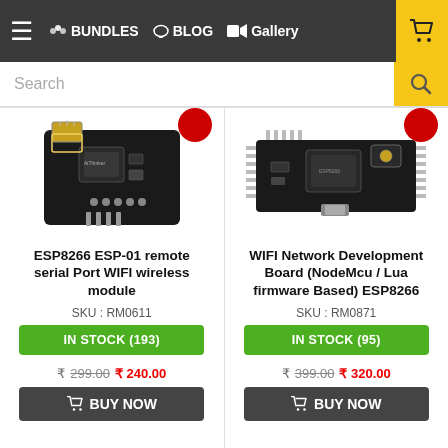≡ BUNDLES  BLOG  Gallery  [cart]
Search
[Figure (photo): ESP8266 ESP-01 WiFi wireless module PCB board on white background]
ESP8266 ESP-01 remote serial Port WIFI wireless module
SKU : RM0611
IN STOCK (193)
₹ 299.00  ₹ 240.00
BUY NOW
[Figure (photo): NodeMCU ESP8266 WiFi development board with pins on white background]
WIFI Network Development Board (NodeMcu / Lua firmware Based) ESP8266
SKU : RM0871
IN STOCK (95)
₹ 399.00  ₹ 320.00
BUY NOW